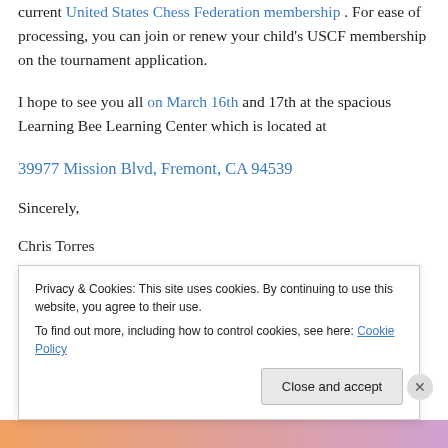current United States Chess Federation membership . For ease of processing, you can join or renew your child's USCF membership on the tournament application.
I hope to see you all on March 16th and 17th at the spacious Learning Bee Learning Center which is located at
39977 Mission Blvd, Fremont, CA 94539
Sincerely,
Chris Torres
Privacy & Cookies: This site uses cookies. By continuing to use this website, you agree to their use.
To find out more, including how to control cookies, see here: Cookie Policy